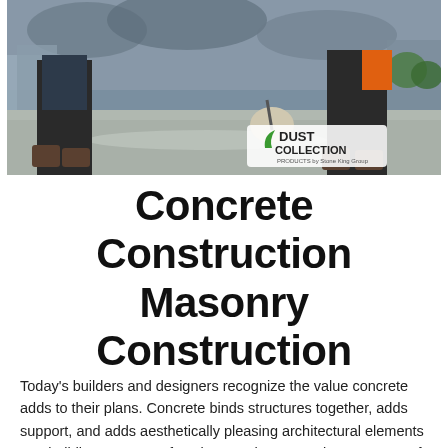[Figure (photo): Construction workers on a concrete surface with a 'Dust Collection Products' logo overlay. Workers wearing boots and work clothes are visible on a rooftop or flat slab with buildings and cloudy sky in the background.]
Concrete Construction Masonry Construction
Today's builders and designers recognize the value concrete adds to their plans. Concrete binds structures together, adds support, and adds aesthetically pleasing architectural elements to a building. Concrete functions as the centerpiece to some of the most breathtaking